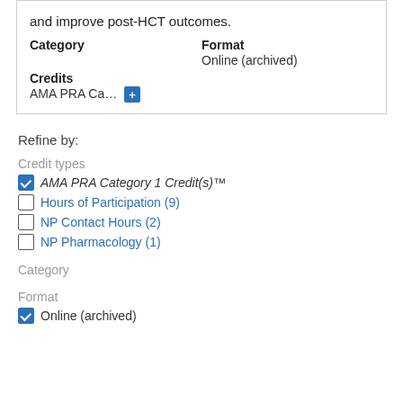and improve post-HCT outcomes.
| Category | Format |
| --- | --- |
|  | Online (archived) |
Credits
AMA PRA Ca... +
Refine by:
Credit types
AMA PRA Category 1 Credit(s)™ (checked)
Hours of Participation (9)
NP Contact Hours (2)
NP Pharmacology (1)
Category
Format
Online (archived) (checked)